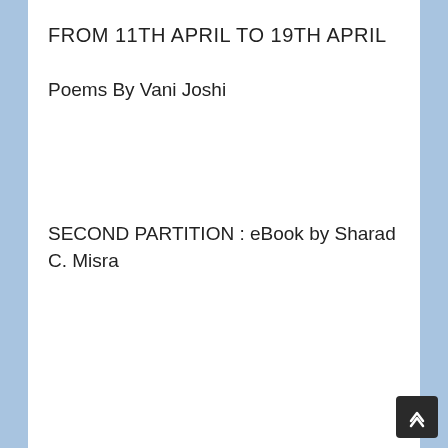FROM 11TH APRIL TO 19TH APRIL
Poems By Vani Joshi
SECOND PARTITION : eBook by Sharad C. Misra